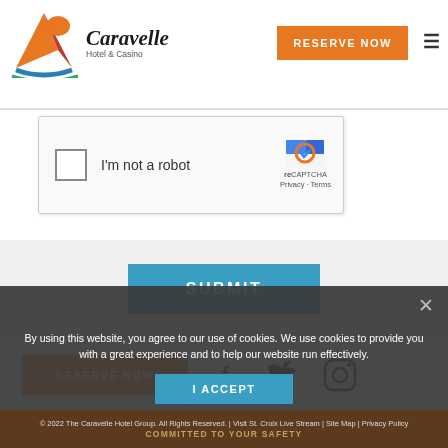[Figure (logo): Caravelle Hotel & Casino logo with colored bird/sail graphic]
RESERVE NOW
[Figure (screenshot): reCAPTCHA widget with checkbox 'I'm not a robot']
SUBMIT
RESERVE NOW
[Figure (infographic): Social media icons: Facebook, Twitter, Instagram]
44A Queen Cross Street, Christiansted, St. Croix VI 00820
Phone: 340-773-0687
By using this website, you agree to our use of cookies. We use cookies to provide you with a great experience and to help our website run effectively.
I ACCEPT
© 2022 The Caravelle Hotel Group. All Rights Reserved. | Visit St. Croix Live Stream | Site Map | Privacy Policy
COMMITTED TO YOUR SAFETY